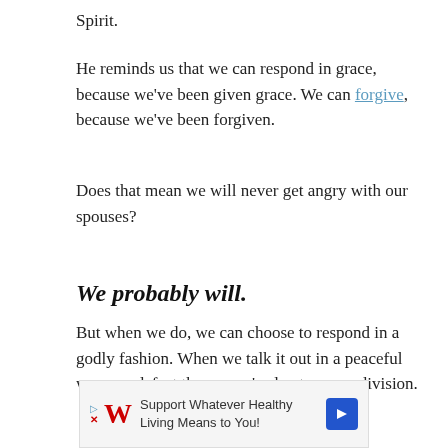Spirit.
He reminds us that we can respond in grace, because we've been given grace. We can forgive, because we've been forgiven.
Does that mean we will never get angry with our spouses?
We probably will.
But when we do, we can choose to respond in a godly fashion. When we talk it out in a peaceful way, we defeat the enemy's plan to cause division.
[Figure (other): Walgreens advertisement banner: 'Support Whatever Healthy Living Means to You!']